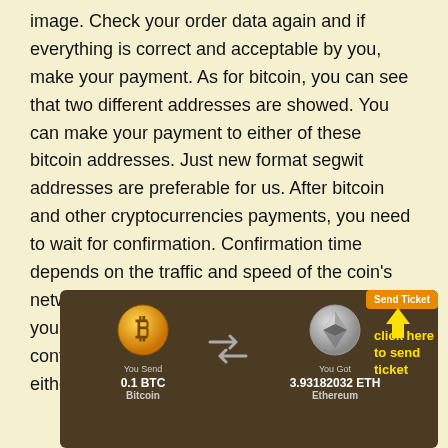image. Check your order data again and if everything is correct and acceptable by you, make your payment. As for bitcoin, you can see that two different addresses are showed. You can make your payment to either of these bitcoin addresses. Just new format segwit addresses are preferable for us. After bitcoin and other cryptocurrencies payments, you need to wait for confirmation. Confirmation time depends on the traffic and speed of the coin's network as well as the tx fee you have paid for your transaction. After your payment is confirmed, your exchange will be processed either automatically or by one of our supports.
[Figure (screenshot): Screenshot of a cryptocurrency exchange interface showing BTC to ETH exchange: You Send 0.1 BTC Bitcoin, shuffle arrows icon, You Got 3.93182032 ETH Ethereum, with a Send Ticket button and 'click here to send ticket' annotation in yellow.]